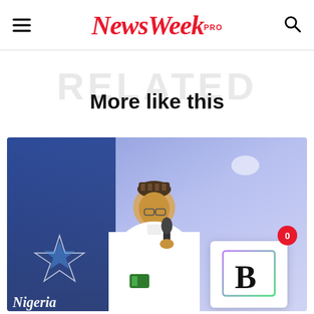NewsWeek PRO
More like this
[Figure (photo): A man in white traditional attire and embroidered cap speaking into a microphone at a Nigeria-related event, with a blue decorated background. A white card with a stylized 'B' letter logo overlaid in the bottom right, with a red notification badge showing '0'.]